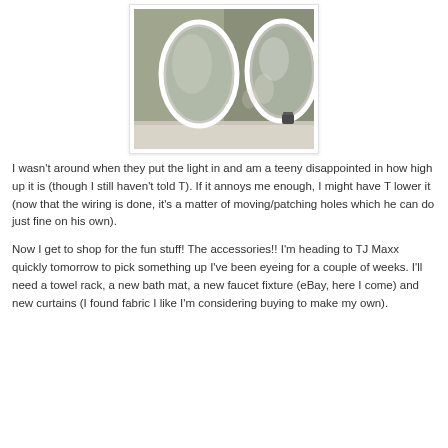[Figure (photo): Bathroom photo showing two oval white-framed mirrors above a vanity area against a gray/olive green wall. The mirrors are shown side by side reflecting each other and the room. A small item is visible on the counter.]
I wasn't around when they put the light in and am a teeny disappointed in how high up it is (though I still haven't told T). If it annoys me enough, I might have T lower it (now that the wiring is done, it's a matter of moving/patching holes which he can do just fine on his own).
Now I get to shop for the fun stuff! The accessories!! I'm heading to TJ Maxx quickly tomorrow to pick something up I've been eyeing for a couple of weeks. I'll need a towel rack, a new bath mat, a new faucet fixture (eBay, here I come) and new curtains (I found fabric I like I'm considering buying to make my own).